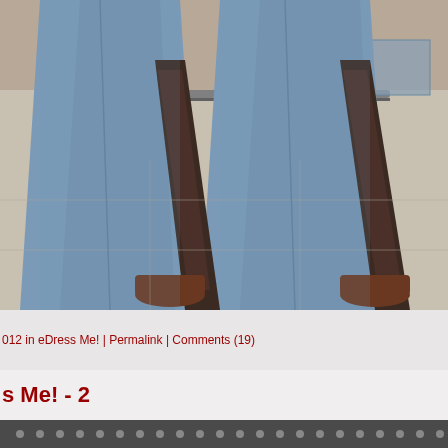[Figure (photo): Close-up photograph of a person wearing wide-leg denim/chambray pants with front slits, showing brown high-heeled sandals, taken in what appears to be a mall or public space with tiled flooring.]
012 in eDress Me! | Permalink | Comments (19)
s Me! - 2
[Figure (photo): Partial bottom photo showing what appears to be a metallic or chrome rack/display fixture.]